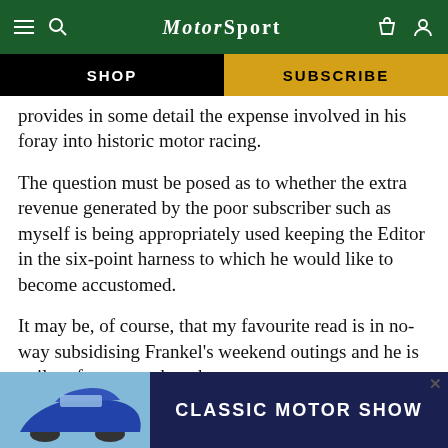Motor Sport
SHOP | SUBSCRIBE
provides in some detail the expense involved in his foray into historic motor racing.
The question must be posed as to whether the extra revenue generated by the poor subscriber such as myself is being appropriately used keeping the Editor in the six-point harness to which he would like to become accustomed.
It may be, of course, that my favourite read is in no-way subsidising Frankel’s weekend outings and he is guilty of no more than the poor judg... mini...
[Figure (screenshot): Classic Motor Show advertisement banner at the bottom of the page, showing a blue Porsche 911 on the left and dark blue background with white text 'CLASSIC MOTOR SHOW' on the right.]